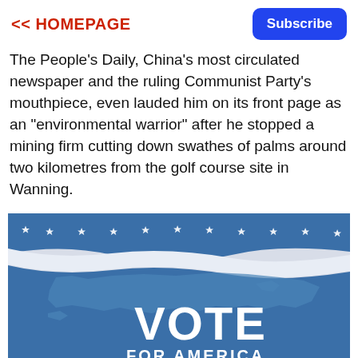<< HOMEPAGE  Subscribe
The People's Daily, China's most circulated newspaper and the ruling Communist Party's mouthpiece, even lauded him on its front page as an "environmental warrior" after he stopped a mining firm cutting down swathes of palms around two kilometres from the golf course site in Wanning.
[Figure (photo): A blue and white fabric or banner with stars along the top edge and the text 'VOTE FOR AMERICA' printed in large white letters over a map silhouette of the United States.]